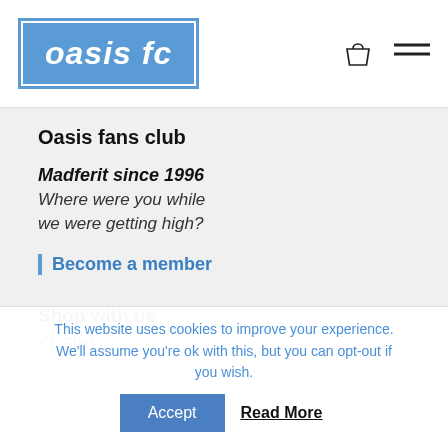oasis fc
Oasis fans club
Madferit since 1996
Where were you while we were getting high?
Become a member
Shop with us
T-Shirt
This website uses cookies to improve your experience. We'll assume you're ok with this, but you can opt-out if you wish.
Accept  Read More